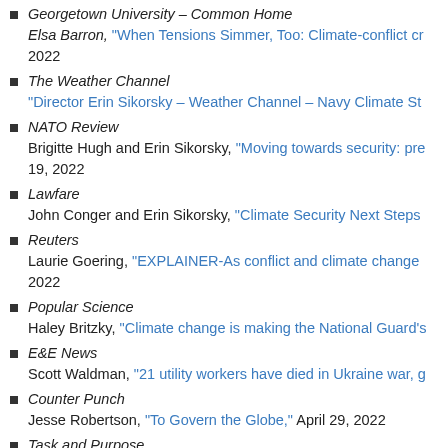Georgetown University – Common Home
Elsa Barron, "When Tensions Simmer, Too: Climate-conflict cr... 2022
The Weather Channel
"Director Erin Sikorsky – Weather Channel – Navy Climate St...
NATO Review
Brigitte Hugh and Erin Sikorsky, "Moving towards security: pre... 19, 2022
Lawfare
John Conger and Erin Sikorsky, "Climate Security Next Steps...
Reuters
Laurie Goering, "EXPLAINER-As conflict and climate change... 2022
Popular Science
Haley Britzky, "Climate change is making the National Guard's...
E&E News
Scott Waldman, "21 utility workers have died in Ukraine war, g...
Counter Punch
Jesse Robertson, "To Govern the Globe," April 29, 2022
Task and Purpose